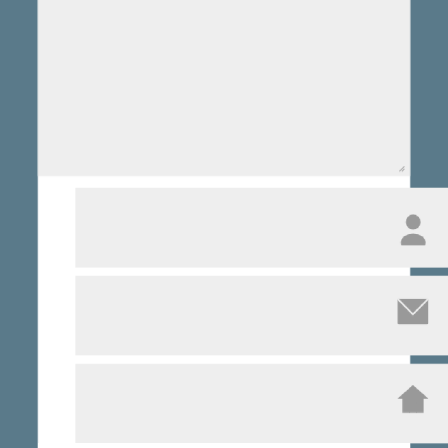[Figure (screenshot): Comment form UI with textarea, three input fields (name, email, website), a Post Comment button, and two notification checkboxes]
Post Comment
Notify me of new comments via email.
Notify me of new posts via email.